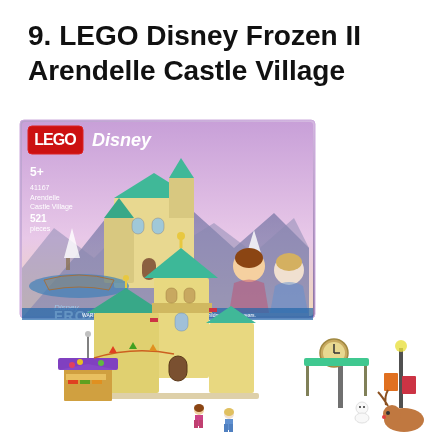9. LEGO Disney Frozen II Arendelle Castle Village
[Figure (photo): Product box and built LEGO set for LEGO Disney Frozen II Arendelle Castle Village (set 41167). The top half shows the retail box with Anna and Elsa characters and the Frozen II Disney branding, rated 5+, 521 pieces. The bottom half shows the assembled LEGO set featuring a teal-roofed castle building, market stall, lamp post with banners, and minifigures.]